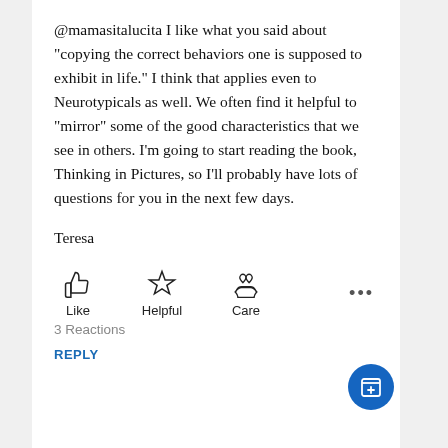@mamasitalucita I like what you said about "copying the correct behaviors one is supposed to exhibit in life." I think that applies even to Neurotypicals as well. We often find it helpful to "mirror" some of the good characteristics that we see in others. I'm going to start reading the book, Thinking in Pictures, so I'll probably have lots of questions for you in the next few days.

Teresa
[Figure (infographic): Three reaction buttons: Like (thumbs up icon), Helpful (star icon), Care (hands with heart icon), and a more options ellipsis (...)]
3 Reactions
REPLY